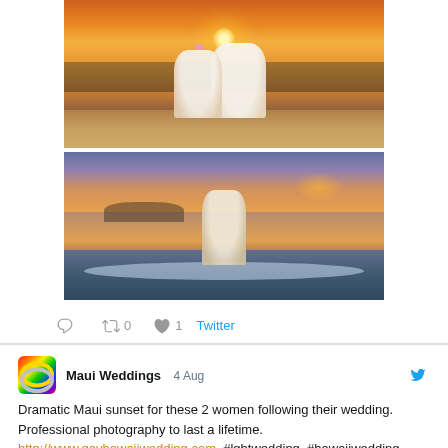[Figure (photo): Two wedding photos stacked: top photo shows two women in white wedding dresses sitting on a beach at sunset with orange sky; bottom photo shows two men in white shirts standing in ocean waves at sunset.]
0   0   1   Twitter
[Figure (logo): Maui Weddings avatar: rainbow-colored rings logo]
Maui Weddings  4 Aug
Dramatic Maui sunset for these 2 women following their wedding. Professional photography to last a lifetime. http://www.gayhawaiiwedding.com, #lgbtwedding, #hawaiiwedding.